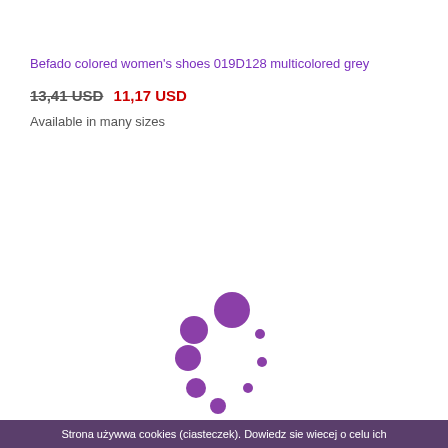Befado colored women's shoes 019D128 multicolored grey
13,41 USD  11,17 USD
Available in many sizes
[Figure (other): Purple animated loading spinner made of circles of varying sizes arranged in a circular pattern]
Strona używwa cookies (ciasteczek). Dowiedz sie wiecej o celu ich